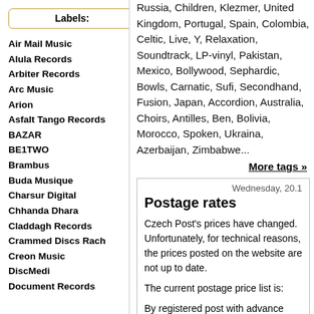Labels:
Air Mail Music
Alula Records
Arbiter Records
Arc Music
Arion
Asfalt Tango Records
BAZAR
BE1TWO
Brambus
Buda Musique
Charsur Digital
Chhanda Dhara
Claddagh Records
Crammed Discs Rach
Creon Music
DiscMedi
Document Records
Russia, Children, Klezmer, United Kingdom, Portugal, Spain, Colombia, Celtic, Live, Y, Relaxation, Soundtrack, LP-vinyl, Pakistan, Mexico, Bollywood, Sephardic, Bowls, Carnatic, Sufi, Secondhand, Fusion, Japan, Accordion, Australia, Choirs, Antilles, Ben, Bolivia, Morocco, Spoken, Ukraina, Azerbaijan, Zimbabwe...
More tags »
Wednesday, 20.1
Postage rates
Czech Post's prices have changed. Unfortunately, for technical reasons, the prices posted on the website are not up to date.
The current postage price list is:
By registered post with advance payment: 80,-Kc + packing 30,-kc. Total: 110,-kc
By Zasilkovna with advance payment: